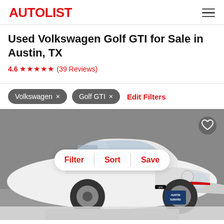AUTOLIST
Used Volkswagen Golf GTI for Sale in Austin, TX
4.6 ★★★★★ (39 Reviews)
Volkswagen ×
Golf GTI ×
Edit Filters
[Figure (photo): White Volkswagen Golf GTI parked in a dealership showroom, front three-quarter view, with Austin Subaru dealer plate. Overlay buttons for Filter, Sort, Save with a heart/save icon in top right corner.]